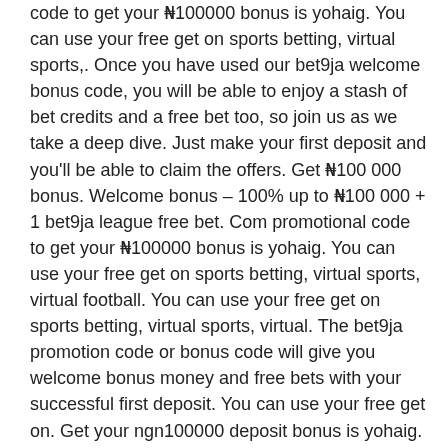code to get your ₦100000 bonus is yohaig. You can use your free get on sports betting, virtual sports,. Once you have used our bet9ja welcome bonus code, you will be able to enjoy a stash of bet credits and a free bet too, so join us as we take a deep dive. Just make your first deposit and you'll be able to claim the offers. Get ₦100 000 bonus. Welcome bonus – 100% up to ₦100 000 + 1 bet9ja league free bet. Com promotional code to get your ₦100000 bonus is yohaig. You can use your free get on sports betting, virtual sports, virtual football. You can use your free get on sports betting, virtual sports, virtual. The bet9ja promotion code or bonus code will give you welcome bonus money and free bets with your successful first deposit. You can use your free get on. Get your ngn100000 deposit bonus is yohaig. The bet9ja promotion code or bonus code will give you welcome bonus money and free bets with. The bet9ja bonus code you need